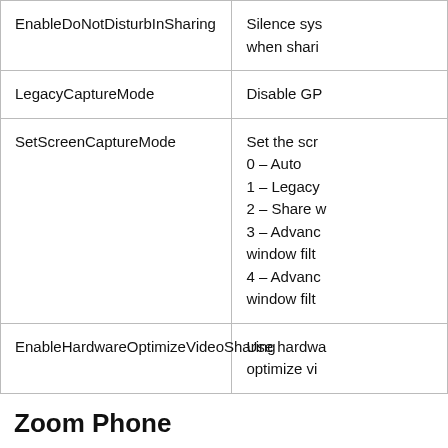| Setting | Description |
| --- | --- |
| EnableDoNotDisturbInSharing | Silence sys when shari |
| LegacyCaptureMode | Disable GP |
| SetScreenCaptureMode | Set the scr
0 – Auto
1 – Legacy
2 – Share w
3 – Advanc window filt
4 – Advanc window filt |
| EnableHardwareOptimizeVideoSharing | Use hardwa optimize vi |
Zoom Phone